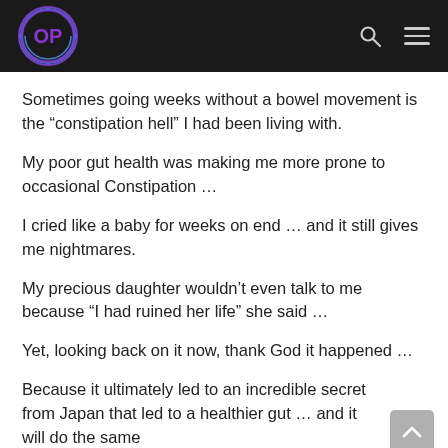OP logo with navigation
Sometimes going weeks without a bowel movement is the “constipation hell” I had been living with.
My poor gut health was making me more prone to occasional Constipation …
I cried like a baby for weeks on end … and it still gives me nightmares.
My precious daughter wouldn’t even talk to me because “I had ruined her life” she said …
Yet, looking back on it now, thank God it happened …
Because it ultimately led to an incredible secret from Japan that led to a healthier gut … and it will do the same